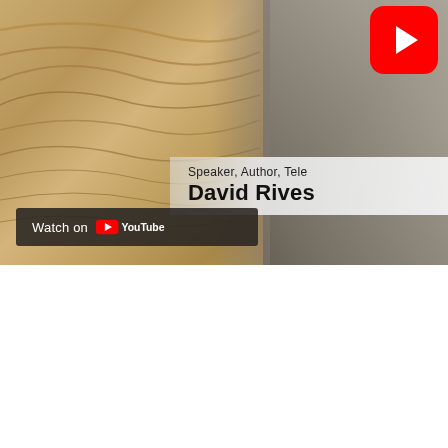[Figure (screenshot): YouTube video thumbnail showing desert sand dunes on the left half, a person in gray clothing on the right half, a red YouTube play button in the top-right corner, a semi-transparent name banner reading 'Speaker, Author, Tele' and 'David Rives', and a dark 'Watch on YouTube' bar at bottom-left.]